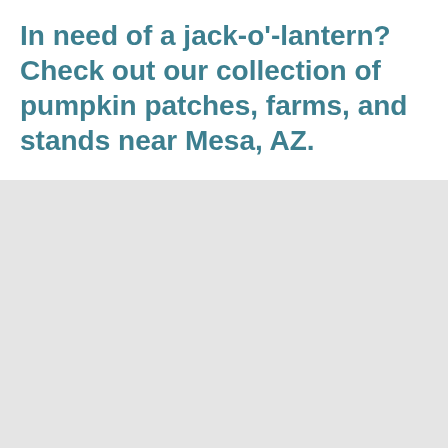In need of a jack-o'-lantern? Check out our collection of pumpkin patches, farms, and stands near Mesa, AZ.
[Figure (other): Large light gray placeholder rectangle occupying the lower portion of the page]